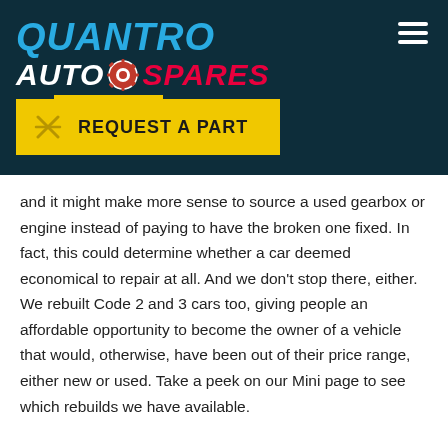[Figure (logo): Quantro Auto Spares & Rebuilds logo on dark teal background with yellow 'Request a Part' button]
and it might make more sense to source a used gearbox or engine instead of paying to have the broken one fixed. In fact, this could determine whether a car deemed economical to repair at all. And we don't stop there, either. We rebuilt Code 2 and 3 cars too, giving people an affordable opportunity to become the owner of a vehicle that would, otherwise, have been out of their price range, either new or used. Take a peek on our Mini page to see which rebuilds we have available.